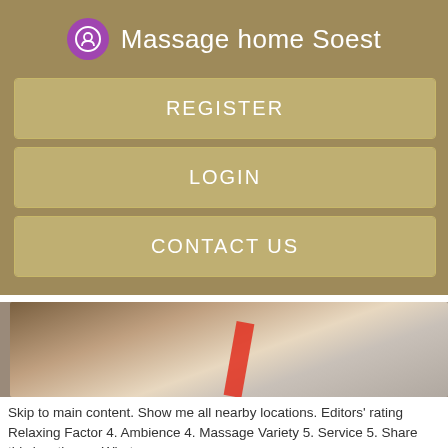Massage home Soest
REGISTER
LOGIN
CONTACT US
[Figure (photo): Close-up photo of a massage table with a red object visible against light-colored fabric]
Skip to main content. Show me all nearby locations. Editors' rating Relaxing Factor 4. Ambience 4. Massage Variety 5. Service 5. Share this location on Whatsapp.
Island massage Prenzlauer Berg Prenzlauer B…